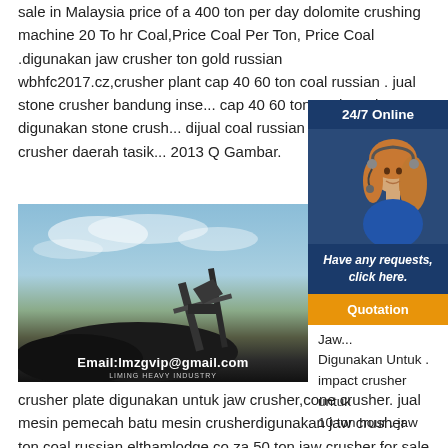sale in Malaysia price of a 400 ton per day dolomite crushing machine 20 To hr Coal,Price Coal Per Ton, Price Coal .digunakan jaw crusher ton gold russian wbhfc2017.cz,crusher plant cap 40 60 ton coal russian . jual stone crusher bandung inse... cap 40 60 ton coal russian digunakan stone crush... dijual coal russian jual stone crusher daerah tasik... 2013 Q Gambar.
[Figure (photo): Industrial crusher/coal processing equipment at a site with dark material piles. Email watermark: Email:lmzgvip@gmail.com]
Dig... Cru... Rus... Jaw... Digunakan Untuk . impact crusher untuk 10 ton hour . jaw crusher plate digunakan untuk jaw crusher,cone crusher. jual mesin pemecah batu mesin crusherdigunakan jaw crusher ton coal russian elthamlodge.co.za,50 ton jaw crusher for sale miningbmw
[Figure (infographic): 24/7 Online chat widget with woman wearing headset, dark blue background, 'Have any requests, click here.' text and orange Quotation button]